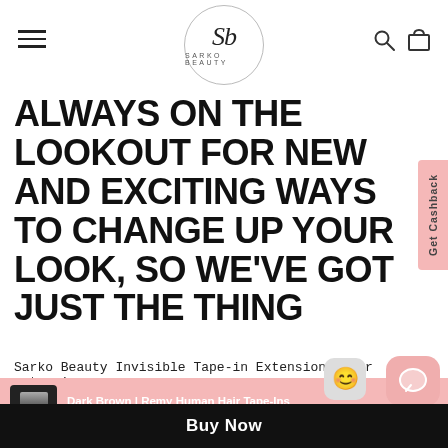SB SARKO BEAUTY
ALWAYS ON THE LOOKOUT FOR NEW AND EXCITING WAYS TO CHANGE UP YOUR LOOK, SO WE'VE GOT JUST THE THING
Sarko Beauty Invisible Tape-in Extensions! Our extensions are
[Figure (screenshot): Dark Brown Remy Human Hair Tape-Ins product image thumbnail showing a person with dark hair]
Dark Brown | Remy Human Hair Tape-Ins $225.00
14 inches
Thin
Buy Now